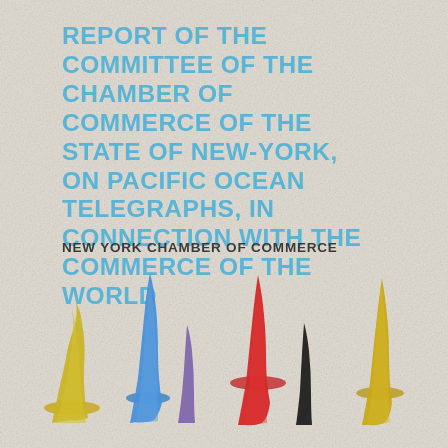REPORT OF THE COMMITTEE OF THE CHAMBER OF COMMERCE OF THE STATE OF NEW-YORK, ON PACIFIC OCEAN TELEGRAPHS, IN CONNECTION WITH THE COMMERCE OF THE WORLD
NEW YORK CHAMBER OF COMMERCE
[Figure (illustration): Abstract colorful brush strokes artwork at the bottom of the book cover: yellow, blue, purple, red, black, and golden/olive vertical brush strokes resembling stylized upward streaks or paint marks on a textured light grey/beige background.]